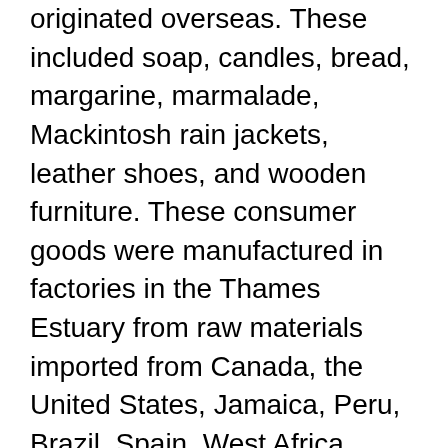originated overseas. These included soap, candles, bread, margarine, marmalade, Mackintosh rain jackets, leather shoes, and wooden furniture. These consumer goods were manufactured in factories in the Thames Estuary from raw materials imported from Canada, the United States, Jamaica, Peru, Brazil, Spain, West Africa, India, Ceylon, and New Zealand, among other locations. During the nineteenth century, the discovery and transfer of new plants, combined with the growing demands for food and raw materials, brought more and more of the world's land into cultivation. Significant deforestation resulted from this expansion of agriculture and the growing demand for a wide range of forest products. In many cases, this in turn reduced biodiversity, helped spread plant diseases, and increased soil erosion. This historical research explores how the intersections between industry, science, consumer culture, empire, and markets in London transformed numerous environments around the globe through a series